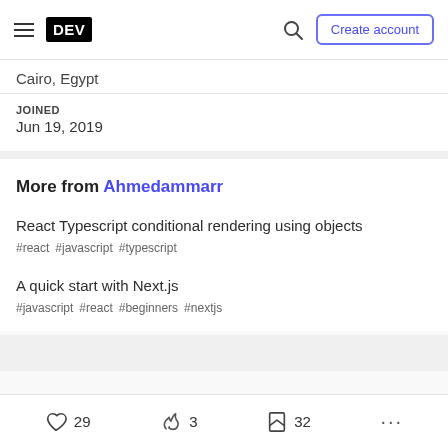DEV — Create account
Cairo, Egypt
JOINED
Jun 19, 2019
More from Ahmedammarr
React Typescript conditional rendering using objects
#react #javascript #typescript
A quick start with Next.js
#javascript #react #beginners #nextjs
29  3  32  ...